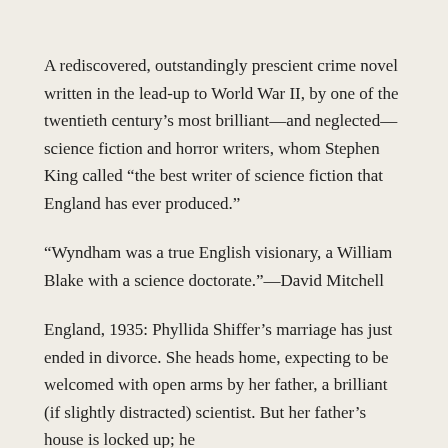A rediscovered, outstandingly prescient crime novel written in the lead-up to World War II, by one of the twentieth century’s most brilliant—and neglected—science fiction and horror writers, whom Stephen King called “the best writer of science fiction that England has ever produced.”
“Wyndham was a true English visionary, a William Blake with a science doctorate.”—David Mitchell
England, 1935: Phyllida Shiffer’s marriage has just ended in divorce. She heads home, expecting to be welcomed with open arms by her father, a brilliant (if slightly distracted) scientist. But her father’s house is locked up; he